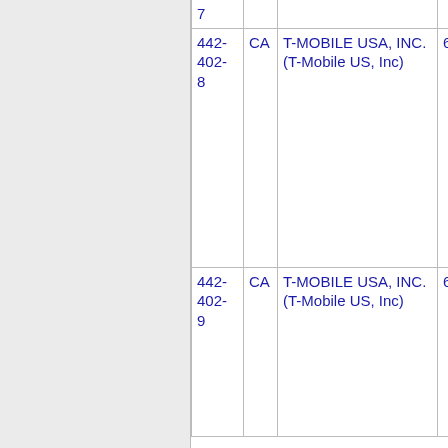| Number | State | Name | Code |
| --- | --- | --- | --- |
| 7 |  |  |  |
| 442-402-8 | CA | T-MOBILE USA, INC. (T-Mobile US, Inc) | 6529 |
| 442-402-9 | CA | T-MOBILE USA, INC. (T-Mobile US, Inc) | 6529 |